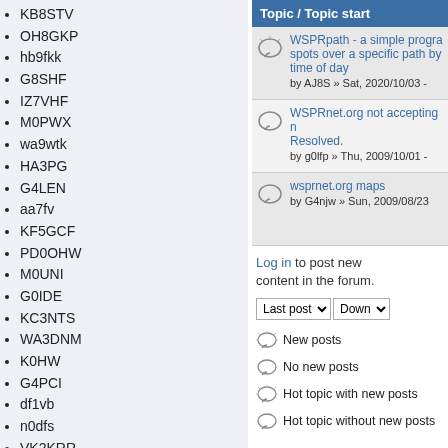KB8STV
OH8GKP
hb9fkk
G8SHF
IZ7VHF
M0PWX
wa9wtk
HA3PG
G4LEN
aa7fv
KF5GCF
PD0OHW
M0UNI
G0IDE
KC3NTS
WA3DNM
K0HW
G4PCI
df1vb
n0dfs
VK2KRR
VK2EFM
BV2AP
KL2WX
KI5UUS
K9KFR
| Topic / Topic starter |
| --- |
| WSPRpath - a simple program...spots over a specific path by...time of day | by AJ8S » Sat, 2020/10/03 - |
| WSPRnet.org not accepting n...Resolved. | by g0lfp » Thu, 2009/10/01 - |
| wsprnet.org maps | by G4njw » Sun, 2009/08/23 |
Log in to post new content in the forum.
New posts
No new posts
Hot topic with new posts
Hot topic without new posts